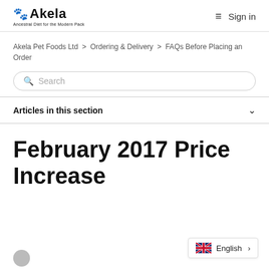Akela — Ancestral Diet for the Modern Pack | Sign in
Akela Pet Foods Ltd > Ordering & Delivery > FAQs Before Placing an Order
Search
Articles in this section
February 2017 Price Increase